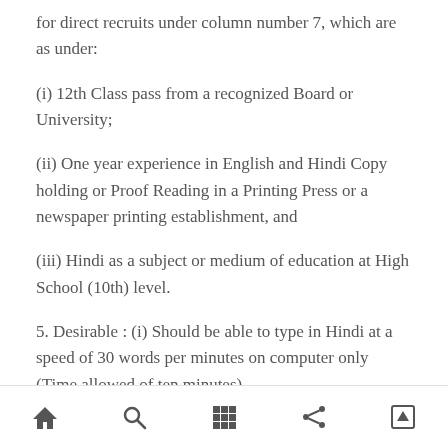for direct recruits under column number 7, which are as under:
(i) 12th Class pass from a recognized Board or University;
(ii) One year experience in English and Hindi Copy holding or Proof Reading in a Printing Press or a newspaper printing establishment, and
(iii) Hindi as a subject or medium of education at High School (10th) level.
5. Desirable : (i) Should be able to type in Hindi at a speed of 30 words per minutes on computer only (Time allowed of ten minutes)
Navigation bar with home, search, grid, share, and scroll-to-top icons